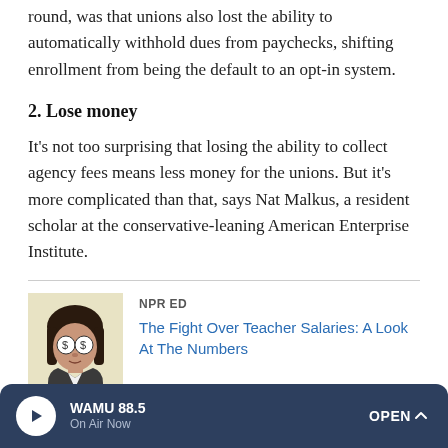round, was that unions also lost the ability to automatically withhold dues from paychecks, shifting enrollment from being the default to an opt-in system.
2. Lose money
It's not too surprising that losing the ability to collect agency fees means less money for the unions. But it's more complicated than that, says Nat Malkus, a resident scholar at the conservative-leaning American Enterprise Institute.
[Figure (illustration): Illustration of a woman with dollar signs on her eyes, wearing a dark jacket with a white collar, dark bob haircut, against a light background.]
NPR ED
The Fight Over Teacher Salaries: A Look At The Numbers
WAMU 88.5 On Air Now OPEN